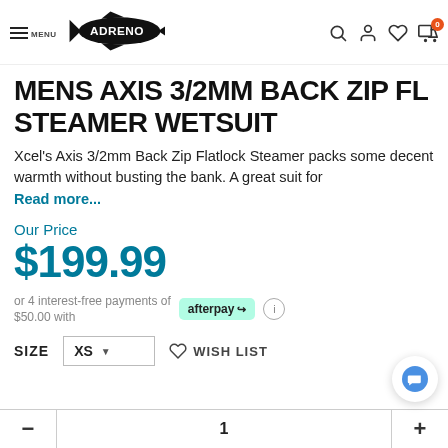[Figure (logo): Adreno logo - stylized fish with brand name]
MENS AXIS 3/2MM BACK ZIP FL STEAMER WETSUIT
Xcel's Axis 3/2mm Back Zip Flatlock Steamer packs some decent warmth without busting the bank. A great suit for
Read more...
Our Price
$199.99
or 4 interest-free payments of $50.00 with
SIZE XS  WISH LIST
1